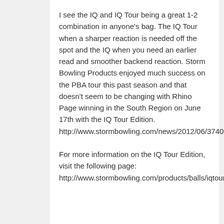I see the IQ and IQ Tour being a great 1-2 combination in anyone's bag. The IQ Tour when a sharper reaction is needed off the spot and the IQ when you need an earlier read and smoother backend reaction. Storm Bowling Products enjoyed much success on the PBA tour this past season and that doesn't seem to be changing with Rhino Page winning in the South Region on June 17th with the IQ Tour Edition. http://www.stormbowling.com/news/2012/06/3740 For more information on the IQ Tour Edition, visit the following page: http://www.stormbowling.com/products/balls/iqtouredition